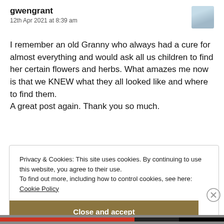gwengrant
12th Apr 2021 at 8:39 am
I remember an old Granny who always had a cure for almost everything and would ask all us children to find her certain flowers and herbs. What amazes me now is that we KNEW what they all looked like and where to find them.
A great post again. Thank you so much.
Privacy & Cookies: This site uses cookies. By continuing to use this website, you agree to their use.
To find out more, including how to control cookies, see here:
Cookie Policy
Close and accept